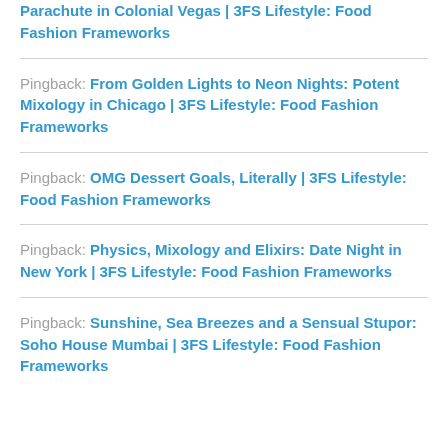Pingback: Parachute in Colonial Vegas | 3FS Lifestyle: Food Fashion Frameworks
Pingback: From Golden Lights to Neon Nights: Potent Mixology in Chicago | 3FS Lifestyle: Food Fashion Frameworks
Pingback: OMG Dessert Goals, Literally | 3FS Lifestyle: Food Fashion Frameworks
Pingback: Physics, Mixology and Elixirs: Date Night in New York | 3FS Lifestyle: Food Fashion Frameworks
Pingback: Sunshine, Sea Breezes and a Sensual Stupor: Soho House Mumbai | 3FS Lifestyle: Food Fashion Frameworks